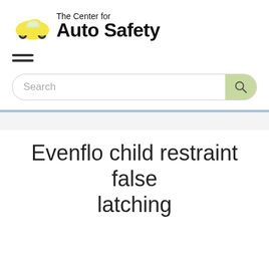[Figure (logo): The Center for Auto Safety logo with yellow cartoon car and bold text]
[Figure (other): Hamburger menu icon with three horizontal lines]
Search
Evenflo child restraint false latching